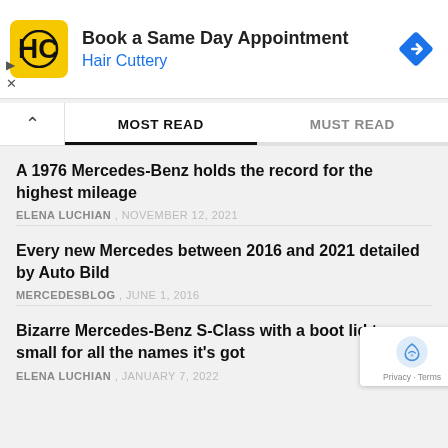[Figure (screenshot): Hair Cuttery advertisement banner with yellow HC logo, navigation arrow icon, and ad controls]
Book a Same Day Appointment
Hair Cuttery
MOST READ
MUST READ
A 1976 Mercedes-Benz holds the record for the highest mileage
ELENA LUCHIAN , NOVEMBER 12, 2021
Every new Mercedes between 2016 and 2021 detailed by Auto Bild
MERCEDESBLOG , JUNE 1, 2016
Bizarre Mercedes-Benz S-Class with a boot lid too small for all the names it's got
ELENA LUCHIAN , JANUARY 7, 2022